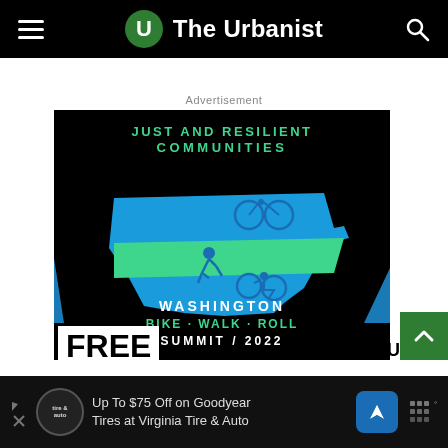The Urbanist
Advertisement
[Figure (illustration): Washington Bike Walk Roll Summit 2022 advertisement banner on black background. Features text 'Just and Resilient Communities' in green, Washington state silhouette in blue and teal with bicycle, walking figure, and wheelchair icons. Bottom text reads 'WASHINGTON BIKE·WALK·ROLL SUMMIT/2022'. Left corner shows 'FREE' in white on black. Right bottom shows 'VIRTUAL'.]
[Figure (illustration): Bottom advertisement bar for Virginia Tire & Auto: 'Up To $75 Off on Goodyear Tires at Virginia Tire & Auto' with tire shop logo, navigation arrow icon, and weather icon.]